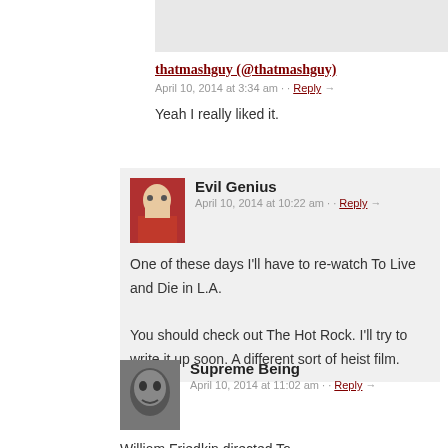thatmashguy (@thatmashguy)
April 10, 2014 at 3:34 am · · Reply →
Yeah I really liked it.
[Figure (photo): Avatar image of Evil Genius commenter, person in red clothing]
Evil Genius   April 10, 2014 at 10:22 am · · Reply →
One of these days I'll have to re-watch To Live and Die in L.A.

You should check out The Hot Rock. I'll try to write it up soon. A different sort of heist film.
[Figure (photo): Avatar image of Supreme Being commenter, dark mask-like face]
Supreme Being   April 10, 2014 at 11:02 am · · Reply →
William Friedkin directed To